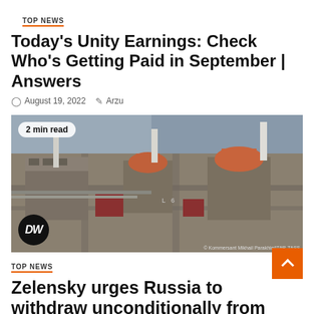TOP NEWS
Today’s Unity Earnings: Check Who’s Getting Paid in September | Answers
August 19, 2022   Arzu
[Figure (photo): Aerial view of the Zaporizhzhia nuclear power plant, showing large industrial buildings with red-topped reactor domes, chimneys, and surrounding infrastructure. DW logo in bottom left, '2 min read' badge in top left.]
TOP NEWS
Zelensky urges Russia to withdraw unconditionally from Zaporizhia nuclear